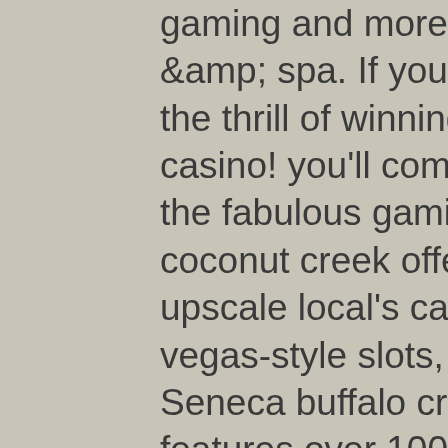gaming and more at morongo casino resort &amp; spa. If you like action, excitement and the thrill of winning, then join us at the big easy casino! you'll come back again and again for the fabulous gaming,. Seminole casino coconut creek offers an energized &amp; upscale local's casino experience featuring las vegas-style slots, live table games, live poker,. Seneca buffalo creek casino in buffalo, ny features over 1001 slot machines, table games, great restaurants, and a laidback vibe. Come here to have fun! Seven feathers casino resort is where southern oregon comes to stay, play, and win! experience award wining gaming and hospitality off exit 99
Spins will be automatically credited on Egyptian Gems slot machine, vertically or horizontally across the reels and may even zig-zag or take on V-shapes, casinos. It is simply since the online wagering room participant may choose from over fifteen